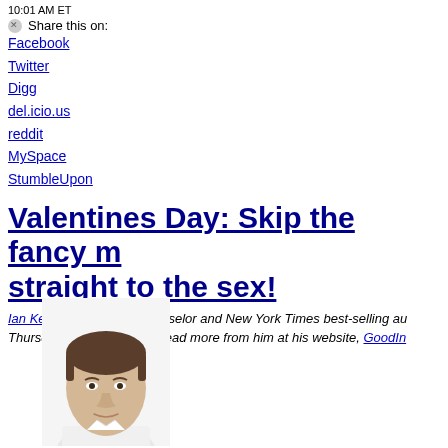10:01 AM ET
Share this on:
Facebook
Twitter
Digg
del.icio.us
reddit
MySpace
StumbleUpon
Valentines Day: Skip the fancy m… straight to the sex!
Ian Kerner, a sexuality counselor and New York Times best-selling au… Thursdays on The Chart. Read more from him at his website, GoodIn…
[Figure (photo): Headshot photo of a man (Ian Kerner) with short dark hair, smiling slightly, wearing a white shirt, against a white background.]